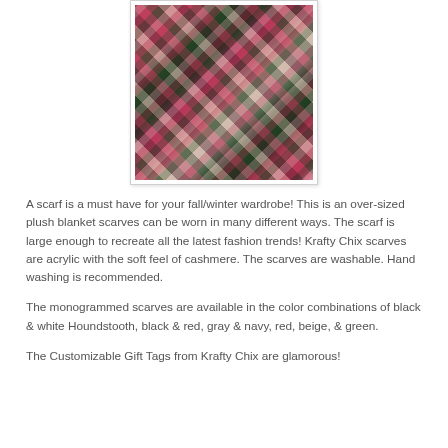[Figure (photo): Photo of a plaid/checkered blanket scarf in pink, dark green, black, and cream/beige colors, bunched and held up, showing its texture and pattern.]
A scarf is a must have for your fall/winter wardrobe! This is an over-sized plush blanket scarves can be worn in many different ways. The scarf is large enough to recreate all the latest fashion trends! Krafty Chix scarves are acrylic with the soft feel of cashmere. The scarves are washable. Hand washing is recommended.
The monogrammed scarves are available in the color combinations of black & white Houndstooth, black & red, gray & navy, red, beige, & green.
The Customizable Gift Tags from Krafty Chix are glamorous!